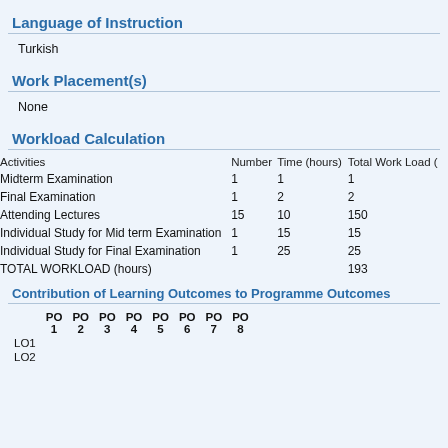Language of Instruction
Turkish
Work Placement(s)
None
Workload Calculation
| Activities | Number | Time (hours) | Total Work Load (hours) |
| --- | --- | --- | --- |
| Midterm Examination | 1 | 1 | 1 |
| Final Examination | 1 | 2 | 2 |
| Attending Lectures | 15 | 10 | 150 |
| Individual Study for Mid term Examination | 1 | 15 | 15 |
| Individual Study for Final Examination | 1 | 25 | 25 |
| TOTAL WORKLOAD (hours) |  |  | 193 |
Contribution of Learning Outcomes to Programme Outcomes
|  | PO 1 | PO 2 | PO 3 | PO 4 | PO 5 | PO 6 | PO 7 | PO 8 |
| --- | --- | --- | --- | --- | --- | --- | --- | --- |
| LO1 |  |  |  |  |  |  |  |  |
| LO2 |  |  |  |  |  |  |  |  |